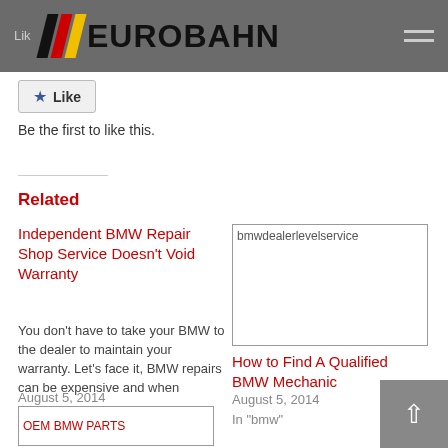Lik EUROBAHN
[Figure (logo): Eurobahn logo with diagonal stripes (black, red, yellow) and bold text EUROBAHN on dark grey header bar]
Like
Be the first to like this.
Related
Independent BMW Repair Shop Service Doesn't Void Warranty
You don't have to take your BMW to the dealer to maintain your warranty. Let's face it, BMW repairs can be expensive and when
August 5, 2014
In "bmw"
[Figure (photo): bmwdealerlevelservice image placeholder]
How to Find A Qualified BMW Mechanic
August 5, 2014
In "bmw"
[Figure (photo): OEM BMW PARTS image placeholder]